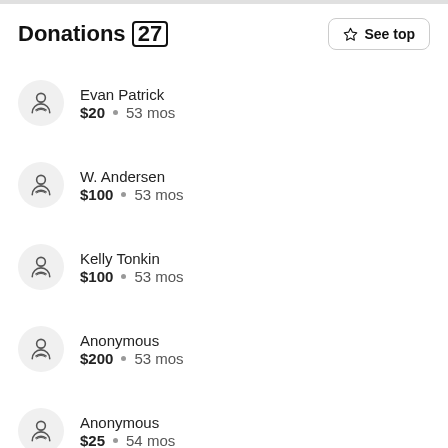Donations (27)
Evan Patrick • $20 • 53 mos
W. Andersen • $100 • 53 mos
Kelly Tonkin • $100 • 53 mos
Anonymous • $200 • 53 mos
Anonymous • $25 • 54 mos